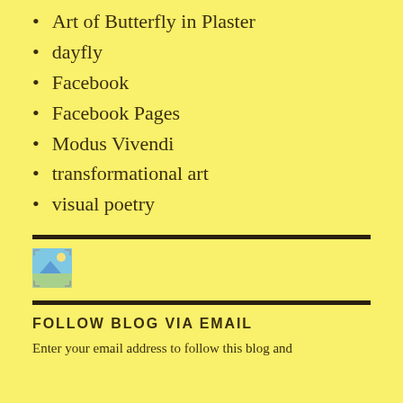Art of Butterfly in Plaster
dayfly
Facebook
Facebook Pages
Modus Vivendi
transformational art
visual poetry
[Figure (illustration): Small broken image placeholder icon]
FOLLOW BLOG VIA EMAIL
Enter your email address to follow this blog and